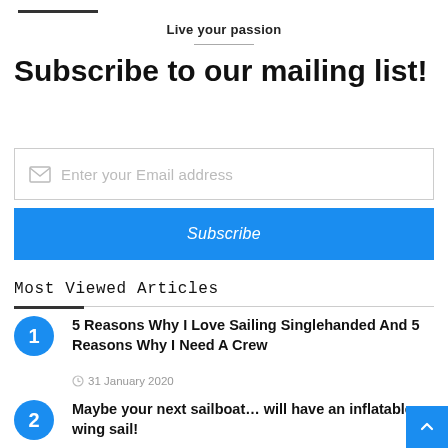Live your passion
Subscribe to our mailing list!
Enter your Email address
Subscribe
Most Viewed Articles
5 Reasons Why I Love Sailing Singlehanded And 5 Reasons Why I Need A Crew
31 January 2020
Maybe your next sailboat... will have an inflatable wing sail!